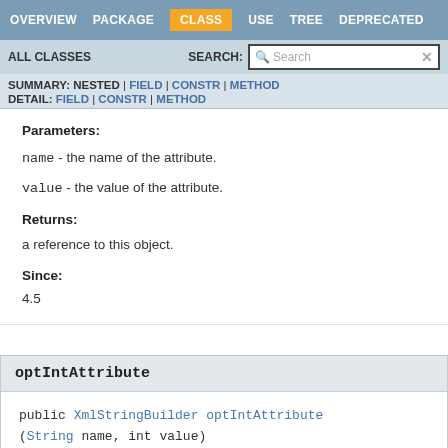OVERVIEW   PACKAGE   CLASS   USE   TREE   DEPRECATED
ALL CLASSES   SEARCH:
SUMMARY: NESTED | FIELD | CONSTR | METHOD   DETAIL: FIELD | CONSTR | METHOD
Parameters:
name - the name of the attribute.
value - the value of the attribute.
Returns:
a reference to this object.
Since:
4.5
optIntAttribute
public XmlStringBuilder optIntAttribute(String name, int value)